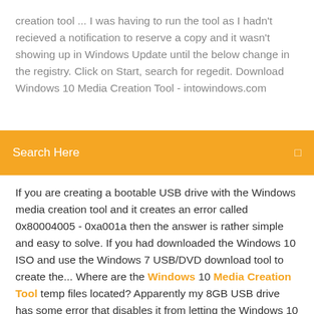creation tool ... I was having to run the tool as I hadn't recieved a notification to reserve a copy and it wasn't showing up in Windows Update until the below change in the registry. Click on Start, search for regedit. Download Windows 10 Media Creation Tool - intowindows.com
Search Here
If you are creating a bootable USB drive with the Windows media creation tool and it creates an error called 0x80004005 - 0xa001a then the answer is rather simple and easy to solve. If you had downloaded the Windows 10 ISO and use the Windows 7 USB/DVD download tool to create the... Where are the Windows 10 Media Creation Tool temp files located? Apparently my 8GB USB drive has some error that disables it from letting the Windows 10 Media Creation Tool (MCT) install the ISO onto it, so I've found another way to do it. However, the temp files from the MCT download have taken more than 10GB